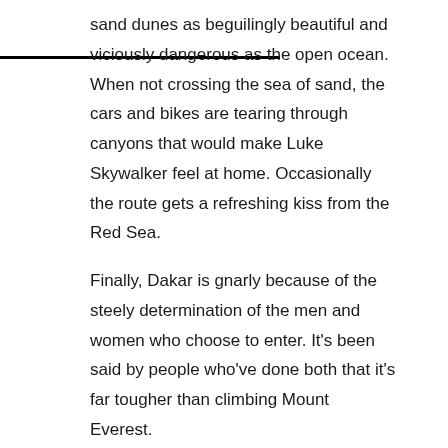sand dunes as beguilingly beautiful and viciously dangerous as the open ocean. When not crossing the sea of sand, the cars and bikes are tearing through canyons that would make Luke Skywalker feel at home. Occasionally the route gets a refreshing kiss from the Red Sea.
Finally, Dakar is gnarly because of the steely determination of the men and women who choose to enter. It's been said by people who've done both that it's far tougher than climbing Mount Everest.
Prince Albert and Princess Caroline of Monaco have taken up the challenge. F1 Legend Jacky Ickx proved his off-road medal winning the 1983 rally. With only $45,000 in first place prize money this year, it's fair to say most elite competitors are in it more for glory than financial gain, especially considering the personal risk.